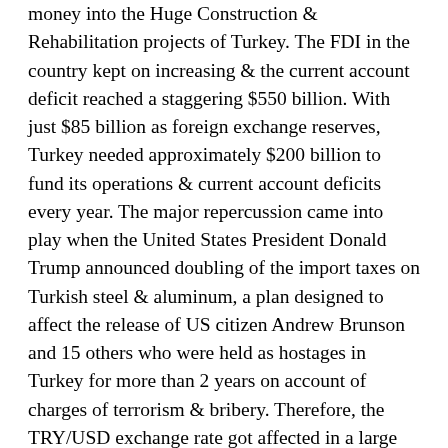money into the Huge Construction & Rehabilitation projects of Turkey. The FDI in the country kept on increasing & the current account deficit reached a staggering $550 billion. With just $85 billion as foreign exchange reserves, Turkey needed approximately $200 billion to fund its operations & current account deficits every year. The major repercussion came into play when the United States President Donald Trump announced doubling of the import taxes on Turkish steel & aluminum, a plan designed to affect the release of US citizen Andrew Brunson and 15 others who were held as hostages in Turkey for more than 2 years on account of charges of terrorism & bribery. Therefore, the TRY/USD exchange rate got affected in a large scale reaching the record low of 6.46 lira against one USD. In such a short span of time, a country with strong banks, healthy financial services & brilliant business culture came down to ruins as the investors lost their faith & confidence in the financial system & its operations.